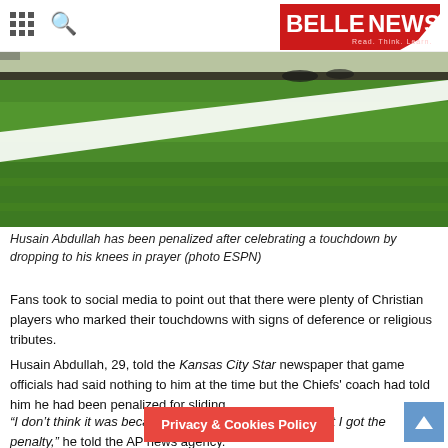BELLE NEWS
[Figure (photo): Overhead view of a football field showing green grass and white yard line markings]
Husain Abdullah has been penalized after celebrating a touchdown by dropping to his knees in prayer (photo ESPN)
Fans took to social media to point out that there were plenty of Christian players who marked their touchdowns with signs of deference or religious tributes.
Husain Abdullah, 29, told the Kansas City Star newspaper that game officials had said nothing to him at the time but the Chiefs' coach had told him he had been penalized for sliding.
“I don’t think it was because of the actual prostration that I got the penalty,” he told the AP news agency.